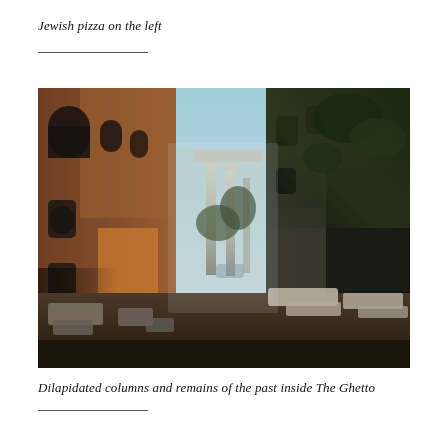Jewish pizza on the left
[Figure (photo): Street-level view between two historic buildings in The Ghetto district of Rome. On the left is a tall brick building with arched windows. On the right is a dark stone building with ivy and overgrown vegetation. In the center background are ancient Roman columns and ruins visible between the buildings, under a clear blue sky.]
Dilapidated columns and remains of the past inside The Ghetto